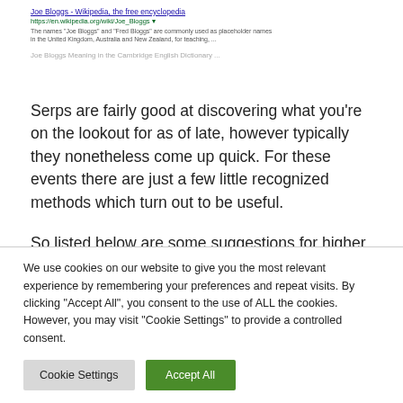[Figure (screenshot): Partial screenshot of a web search result showing a Wikipedia entry for 'Joe Bloggs'. Title in blue: 'Joe Bloggs - Wikipedia, the free encyclopedia'. URL: 'https://en.wikipedia.org/wiki/Joe_Bloggs'. Snippet: 'The names "Joe Bloggs" and "Fred Bloggs" are commonly used as placeholder names in the United Kingdom, Australia and New Zealand, for teaching, ...' Followed by a partially visible second result title in grey.]
Serps are fairly good at discovering what you're on the lookout for as of late, however typically they nonetheless come up quick. For these events there are just a few little recognized methods which turn out to be useful.
So listed below are some suggestions for higher googling (because it's the preferred search engine)
We use cookies on our website to give you the most relevant experience by remembering your preferences and repeat visits. By clicking "Accept All", you consent to the use of ALL the cookies. However, you may visit "Cookie Settings" to provide a controlled consent.